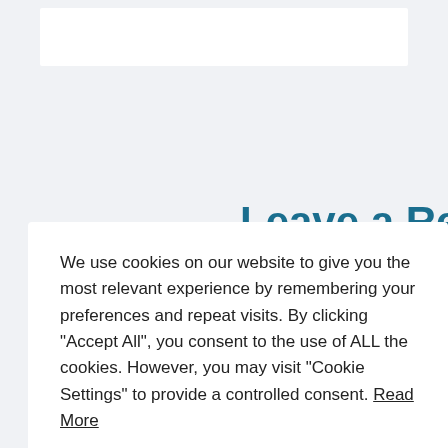Leave a Reply
We use cookies on our website to give you the most relevant experience by remembering your preferences and repeat visits. By clicking "Accept All", you consent to the use of ALL the cookies. However, you may visit "Cookie Settings" to provide a controlled consent. Read More
Cookie Settings
Accept All